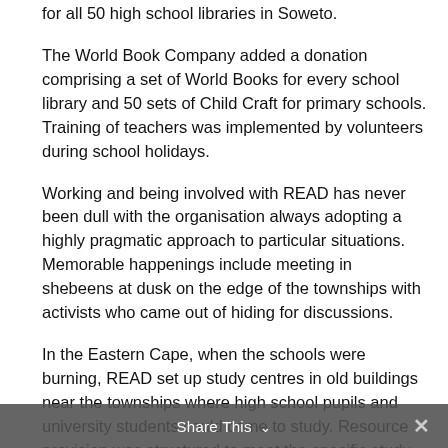for all 50 high school libraries in Soweto.
The World Book Company added a donation comprising a set of World Books for every school library and 50 sets of Child Craft for primary schools. Training of teachers was implemented by volunteers during school holidays.
Working and being involved with READ has never been dull with the organisation always adopting a highly pragmatic approach to particular situations. Memorable happenings include meeting in shebeens at dusk on the edge of the townships with activists who came out of hiding for discussions.
In the Eastern Cape, when the schools were burning, READ set up study centres in old buildings near the townships where high school pupils and university students could come to study. Resource provision was structured to meet the specific study needs of students and young unemployed people who received practical training to manage the centres. These centres were crowded daily with students
Share This